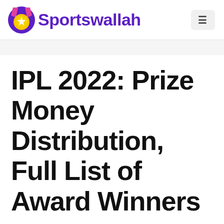Sportswallah
IPL 2022: Prize Money Distribution, Full List of Award Winners